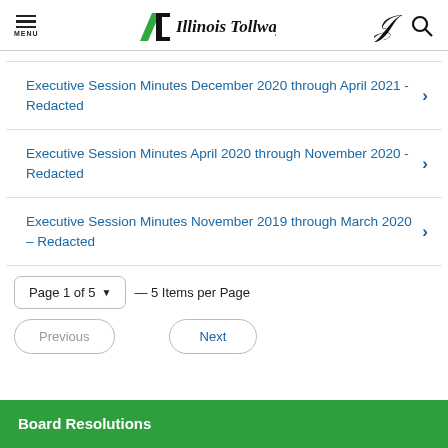MENU | Illinois Tollway
Executive Session Minutes December 2020 through April 2021 - Redacted
Executive Session Minutes April 2020 through November 2020 - Redacted
Executive Session Minutes November 2019 through March 2020 – Redacted
Page 1 of 5 — 5 Items per Page
Previous  Next
Board Resolutions